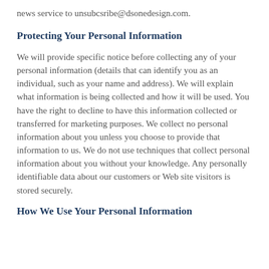news service to unsubcsribe@dsonedesign.com.
Protecting Your Personal Information
We will provide specific notice before collecting any of your personal information (details that can identify you as an individual, such as your name and address). We will explain what information is being collected and how it will be used. You have the right to decline to have this information collected or transferred for marketing purposes. We collect no personal information about you unless you choose to provide that information to us. We do not use techniques that collect personal information about you without your knowledge. Any personally identifiable data about our customers or Web site visitors is stored securely.
How We Use Your Personal Information